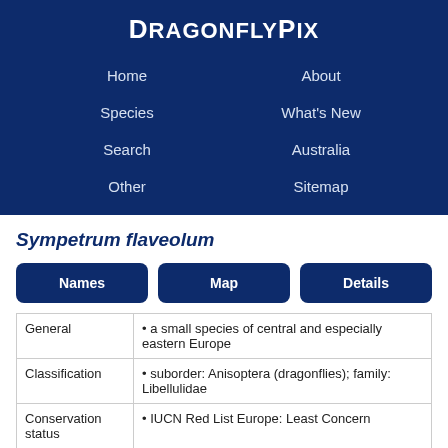DragonflyPix
Home
About
Species
What's New
Search
Australia
Other
Sitemap
Sympetrum flaveolum
|  |  |
| --- | --- |
| General | • a small species of central and especially eastern Europe |
| Classification | • suborder: Anisoptera (dragonflies); family: Libellulidae |
| Conservation status | • IUCN Red List Europe: Least Concern |
| Scientific name | • Sympetrum flaveolum (Linnaeus, 1758) |